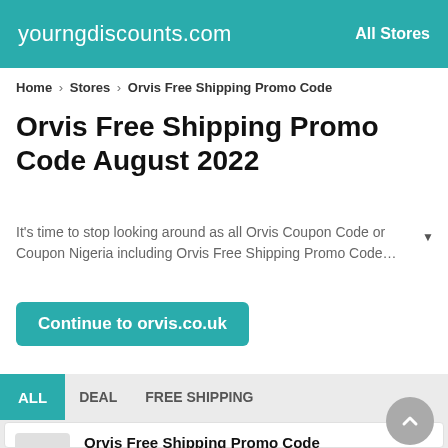yourngdiscounts.com | All Stores
Home > Stores > Orvis Free Shipping Promo Code
Orvis Free Shipping Promo Code August 2022
It's time to stop looking around as all Orvis Coupon Code or Coupon Nigeria including Orvis Free Shipping Promo Code…
Continue to orvis.co.uk
ALL   DEAL   FREE SHIPPING
Orvis Free Shipping Promo Code
DEAL